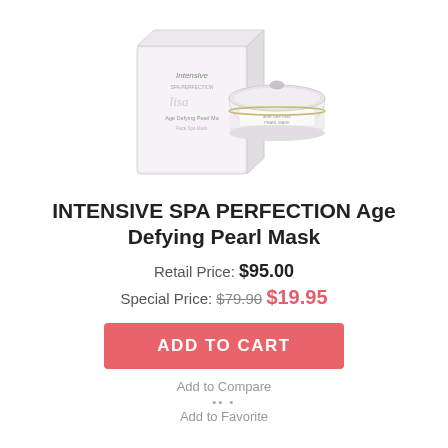[Figure (photo): Product photo: Intensive Spa Perfection Age Defying Pearl Mask — white jar with silver lid and matching white box packaging]
INTENSIVE SPA PERFECTION Age Defying Pearl Mask
Retail Price: $95.00
Special Price: $79.90 $19.95
ADD TO CART
Add to Compare
Add to Favorite